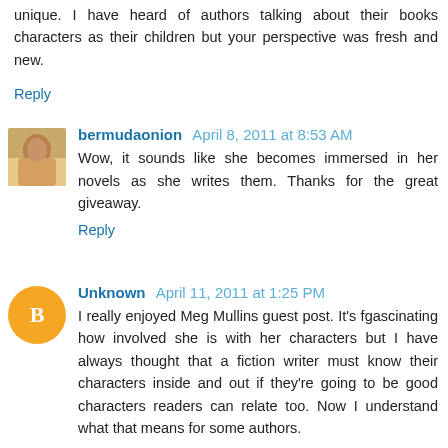unique. I have heard of authors talking about their books characters as their children but your perspective was fresh and new.
Reply
bermudaonion April 8, 2011 at 8:53 AM
Wow, it sounds like she becomes immersed in her novels as she writes them. Thanks for the great giveaway.
Reply
Unknown April 11, 2011 at 1:25 PM
I really enjoyed Meg Mullins guest post. It's fgascinating how involved she is with her characters but I have always thought that a fiction writer must know their characters inside and out if they're going to be good characters readers can relate too. Now I understand what that means for some authors.
I did wonder what Meg's hisband thought about Ushman